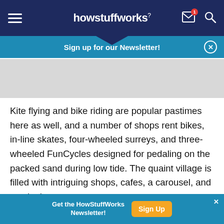howstuffworks
[Figure (screenshot): Sign up for our Newsletter banner with close button]
[Figure (other): Gray advertisement placeholder box]
Kite flying and bike riding are popular pastimes here as well, and a number of shops rent bikes, in-line skates, four-wheeled surreys, and three-wheeled FunCycles designed for pedaling on the packed sand during low tide. The quaint village is filled with intriguing shops, cafes, a carousel, and movie theaters.
[Figure (other): Bottom ad banner: Get the HowStuffWorks Newsletter! Sign Up button]